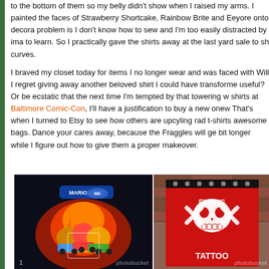to the bottom of them so my belly didn't show when I raised my arms. I painted the faces of Strawberry Shortcake, Rainbow Brite and Eeyore onto decora... problem is I don't know how to sew and I'm too easily distracted by ima... to learn. So I practically gave the shirts away at the last yard sale to sh... curves.

I braved my closet today for items I no longer wear and was faced with... Will I regret giving away another beloved shirt I could have transforme... useful? Or be ecstatic that the next time I'm tempted by that towering w... shirts at Baltimore Comic-Con, I'll have a justification to buy a new onew... That's when I turned to Etsy to see how others are upcyling rad t-shirts... awesome bags. Dance your cares away, because the Fraggles will ge... bit longer while I figure out how to give them a proper makeover.
[Figure (photo): Two t-shirt bag upcycle examples side by side. Left: dark navy Mario Kart Wii t-shirt showing game characters. Right: red fabric with skull and crossbones design and 'TATTOO' text, hung against a brick wall. Photobucket watermark visible.]